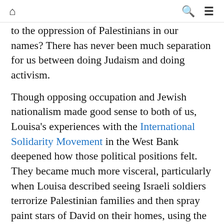🏠   🔍   ☰
to the oppression of Palestinians in our names? There has never been much separation for us between doing Judaism and doing activism.
Though opposing occupation and Jewish nationalism made good sense to both of us, Louisa's experiences with the International Solidarity Movement in the West Bank deepened how those political positions felt. They became much more visceral, particularly when Louisa described seeing Israeli soldiers terrorize Palestinian families and then spray paint stars of David on their homes, using the Jewish symbol as a mark of conquest. The Israeli occupation of Palestine is brutal and unjust, and its claims on Judaism are